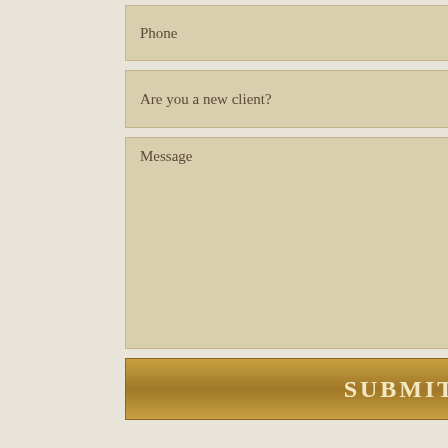Phone
Are you a new client?
Message
SUBMIT
Recovering
If you or a love or an explosion chances of a s documentation waiver until you
Hartley Law G injuries similar suffering of the income. We wa has had on you discuss your ca